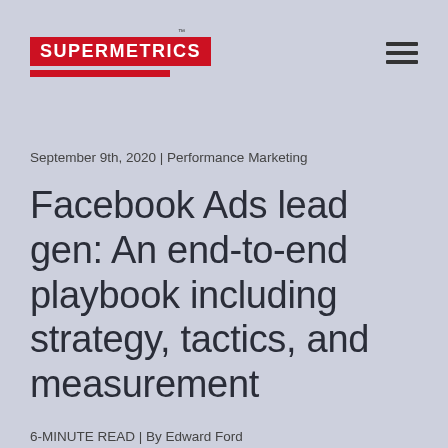[Figure (logo): Supermetrics logo with red bars and trademark symbol]
September 9th, 2020 | Performance Marketing
Facebook Ads lead gen: An end-to-end playbook including strategy, tactics, and measurement
6-MINUTE READ | By Edward Ford